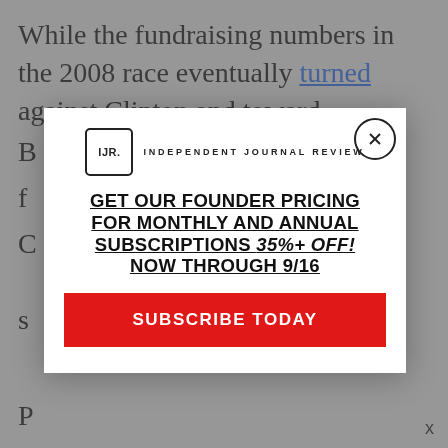While the fundraising numbers in the 2008 race eventually turned against Clinton and toward B... f... C... n s...
[Figure (screenshot): Modal popup advertisement for Independent Journal Review subscription. Contains IJR logo, promotional text 'GET OUR FOUNDER PRICING FOR MONTHLY AND ANNUAL SUBSCRIPTIONS 35%+ OFF! NOW THROUGH 9/16', a red 'SUBSCRIBE TODAY' button, and a close (X) button in the top right corner.]